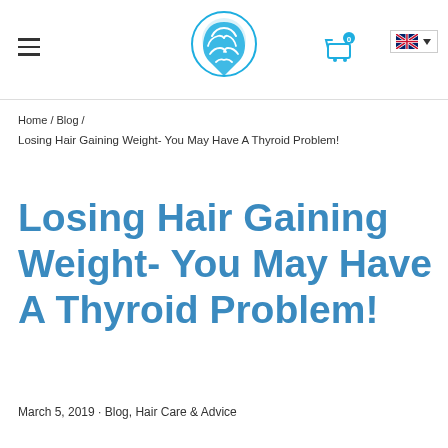Navigation header with hamburger menu, brain logo, shopping cart, and language selector
Home / Blog /
Losing Hair Gaining Weight- You May Have A Thyroid Problem!
Losing Hair Gaining Weight- You May Have A Thyroid Problem!
March 5, 2019 · Blog, Hair Care & Advice